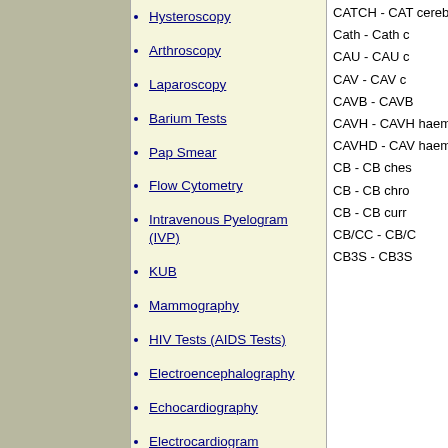Hysteroscopy
Arthroscopy
Laparoscopy
Barium Tests
Pap Smear
Flow Cytometry
Intravenous Pyelogram (IVP)
KUB
Mammography
HIV Tests (AIDS Tests)
Electroencephalography
Echocardiography
Electrocardiogram
CATCH - CAT cerebral hypo
Cath - Cath c
CAU - CAU c
CAV - CAV c
CAVB - CAVB
CAVH - CAVH haemofiltratic
CAVHD - CAV haemodialysi
CB - CB ches
CB - CB chro
CB - CB curr
CB/CC - CB/C
CB3S - CB3S